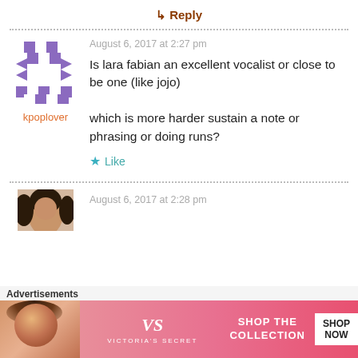↳ Reply
[Figure (illustration): Purple checkerboard/geometric avatar icon for user kpoplover]
kpoplover
August 6, 2017 at 2:27 pm
Is lara fabian an excellent vocalist or close to be one (like jojo)

which is more harder sustain a note or phrasing or doing runs?
Like
August 6, 2017 at 2:28 pm
[Figure (photo): Small photo of a person (partially visible avatar)]
Advertisements
[Figure (infographic): Victoria's Secret advertisement banner: SHOP THE COLLECTION with SHOP NOW button]